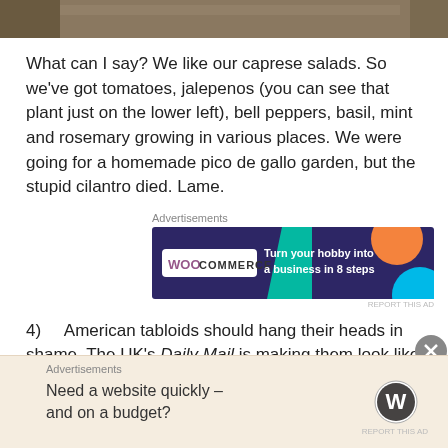[Figure (photo): Partial photo strip at top of page showing outdoor garden/ground scene]
What can I say? We like our caprese salads. So we've got tomatoes, jalepenos (you can see that plant just on the lower left), bell peppers, basil, mint and rosemary growing in various places. We were going for a homemade pico de gallo garden, but the stupid cilantro died. Lame.
Advertisements
[Figure (screenshot): WooCommerce advertisement banner: 'Turn your hobby into a business in 8 steps']
4)    American tabloids should hang their heads in shame. The UK's Daily Mail is making them look like total chumps. It's embarrassing. The Daily Mail covers
Advertisements
[Figure (screenshot): WordPress advertisement: 'Need a website quickly – and on a budget?' with WordPress logo]